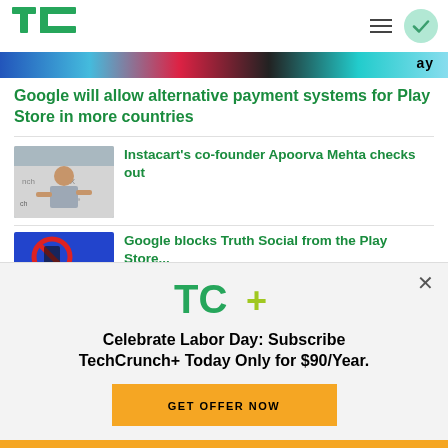TechCrunch
[Figure (photo): Partial banner image with colorful background and partial text 'ay' visible]
Google will allow alternative payment systems for Play Store in more countries
[Figure (photo): Man at a conference gesturing with hands, conference branding in background]
Instacart's co-founder Apoorva Mehta checks out
[Figure (photo): Blue background with red prohibition circle, partial image of phone or device]
Google blocks Truth Social from the Play Store...
[Figure (logo): TC+ logo — TechCrunch plus logo in green/black with plus sign in yellow-green]
Celebrate Labor Day: Subscribe TechCrunch+ Today Only for $90/Year.
GET OFFER NOW